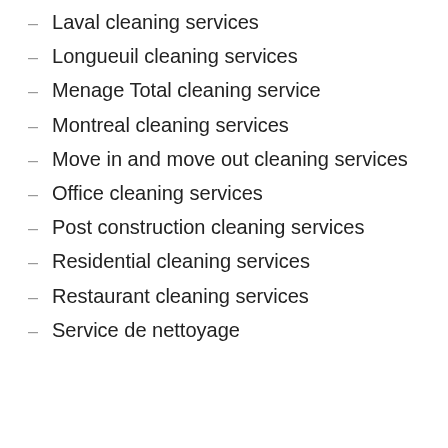Laval cleaning services
Longueuil cleaning services
Menage Total cleaning service
Montreal cleaning services
Move in and move out cleaning services
Office cleaning services
Post construction cleaning services
Residential cleaning services
Restaurant cleaning services
Service de nettoyage